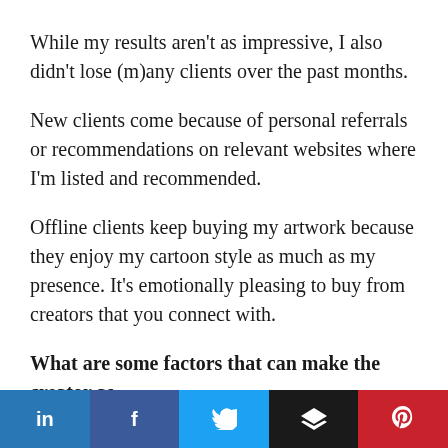While my results aren't as impressive, I also didn't lose (m)any clients over the past months.
New clients come because of personal referrals or recommendations on relevant websites where I'm listed and recommended.
Offline clients keep buying my artwork because they enjoy my cartoon style as much as my presence. It's emotionally pleasing to buy from creators that you connect with.
What are some factors that can make the creator as
[Figure (infographic): Social media sharing bar with five buttons: LinkedIn (blue), Facebook (dark blue), Twitter (light blue), Layers/Buffer (black), Pinterest (red). Icons shown for each platform.]